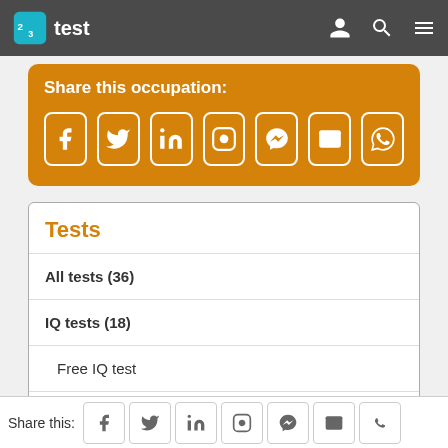23test (navigation bar with logo)
Share this occupation:
[Figure (infographic): Social media sharing icons: Facebook, Twitter, LinkedIn, Instagram, Messenger, Email, WhatsApp]
Tests
All tests (36)
IQ tests (18)
Free IQ test
Classical intelligence test
Culture fair IQ test (partially visible)
Share this: [social icons]